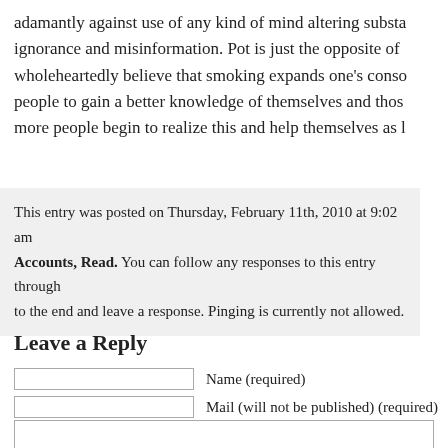adamantly against use of any kind of mind altering substa... ignorance and misinformation. Pot is just the opposite of... wholeheartedly believe that smoking expands one's cons... people to gain a better knowledge of themselves and thos... more people begin to realize this and help themselves as l...
This entry was posted on Thursday, February 11th, 2010 at 9:02 am Accounts, Read. You can follow any responses to this entry through to the end and leave a response. Pinging is currently not allowed.
Leave a Reply
Name (required)
Mail (will not be published) (required)
Website